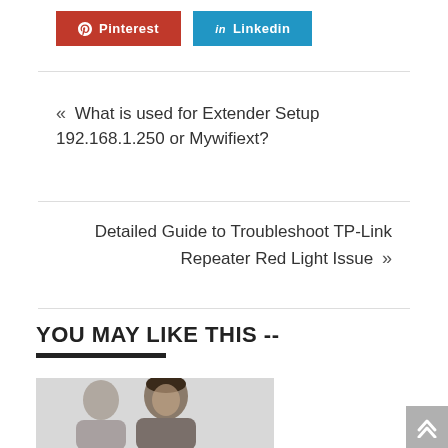[Figure (other): Pinterest social share button (red background)]
[Figure (other): LinkedIn social share button (blue background)]
« What is used for Extender Setup 192.168.1.250 or Mywifiext?
Detailed Guide to Troubleshoot TP-Link Repeater Red Light Issue »
YOU MAY LIKE THIS --
[Figure (photo): A photo showing a man and a woman, cropped to show upper body/head, light background]